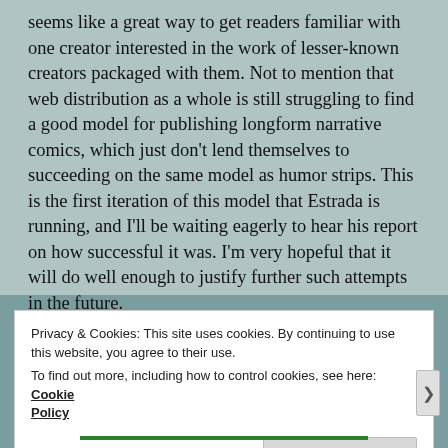seems like a great way to get readers familiar with one creator interested in the work of lesser-known creators packaged with them. Not to mention that web distribution as a whole is still struggling to find a good model for publishing longform narrative comics, which just don't lend themselves to succeeding on the same model as humor strips. This is the first iteration of this model that Estrada is running, and I'll be waiting eagerly to hear his report on how successful it was. I'm very hopeful that it will do well enough to justify further such attempts in the future.
Privacy & Cookies: This site uses cookies. By continuing to use this website, you agree to their use.
To find out more, including how to control cookies, see here: Cookie Policy
Close and accept